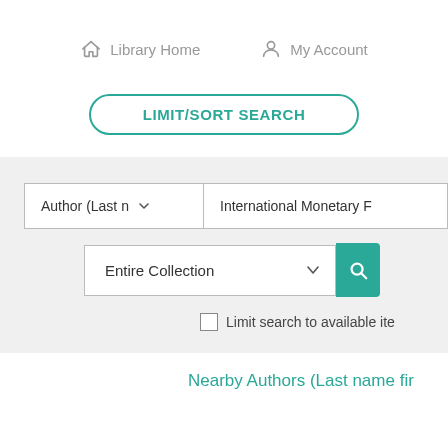Library Home   My Account
LIMIT/SORT SEARCH
[Figure (screenshot): Search interface with Author (Last name) dropdown, International Monetary Fund text input, Entire Collection dropdown, and a teal search button]
Limit search to available ite
Nearby Authors (Last name fir